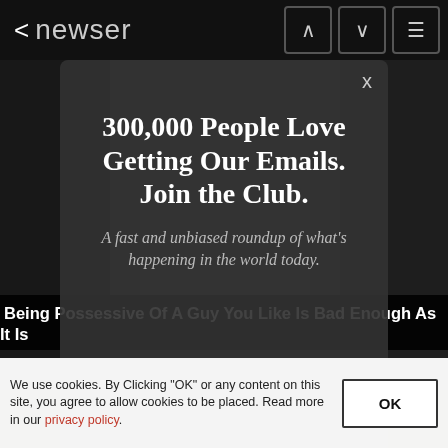< newser
[Figure (screenshot): Dark background showing news website with photo of woman in denim jacket, overlaid by email signup modal and article title bar]
300,000 People Love Getting Our Emails. Join the Club.
A fast and unbiased roundup of what's happening in the world today.
Being Possessive Of A Guy You Like Is Bad Enough As It Is
We use cookies. By Clicking "OK" or any content on this site, you agree to allow cookies to be placed. Read more in our privacy policy.